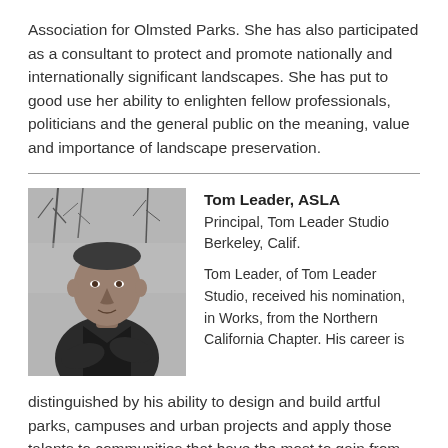Association for Olmsted Parks. She has also participated as a consultant to protect and promote nationally and internationally significant landscapes. She has put to good use her ability to enlighten fellow professionals, politicians and the general public on the meaning, value and importance of landscape preservation.
[Figure (photo): Black and white headshot photograph of Tom Leader, a man in a dark shirt with arms crossed, outdoors with bare trees in background.]
Tom Leader, ASLA
Principal, Tom Leader Studio
Berkeley, Calif.

Tom Leader, of Tom Leader Studio, received his nomination, in Works, from the Northern California Chapter. His career is distinguished by his ability to design and build artful parks, campuses and urban projects and apply those talents to communities that have the most to gain from